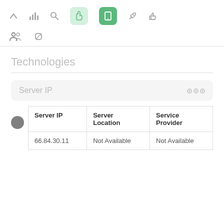[Figure (screenshot): Toolbar with navigation icons: up arrow, bar chart, search, hand pointer (light green button), tablet/phone (dark green button), rocket/send, thumbs up, people/group icon, chain link icon]
Technologies
| Server IP | Server Location | Service Provider |
| --- | --- | --- |
| 66.84.30.11 | Not Available | Not Available |